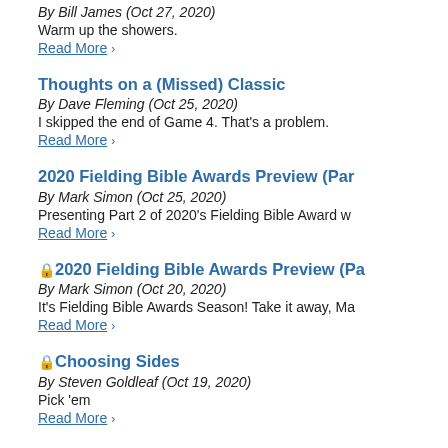By Bill James (Oct 27, 2020)
Warm up the showers.
Read More ›
Thoughts on a (Missed) Classic
By Dave Fleming (Oct 25, 2020)
I skipped the end of Game 4. That's a problem.
Read More ›
2020 Fielding Bible Awards Preview (Par…
By Mark Simon (Oct 25, 2020)
Presenting Part 2 of 2020's Fielding Bible Award w…
Read More ›
🔒 2020 Fielding Bible Awards Preview (Pa…
By Mark Simon (Oct 20, 2020)
It's Fielding Bible Awards Season! Take it away, Ma…
Read More ›
🔒 Choosing Sides
By Steven Goldleaf (Oct 19, 2020)
Pick 'em
Read More ›